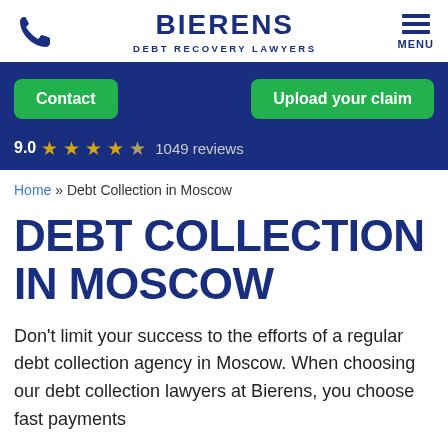BIERENS DEBT RECOVERY LAWYERS
[Figure (infographic): Navigation bar with phone icon, Bierens Debt Recovery Lawyers logo, and hamburger menu]
[Figure (infographic): Blue banner with Contact and Upload your claim buttons, and 9.0 star rating with 1049 reviews]
Home » Debt Collection in Moscow
DEBT COLLECTION IN MOSCOW
Don't limit your success to the efforts of a regular debt collection agency in Moscow. When choosing our debt collection lawyers at Bierens, you choose fast payments